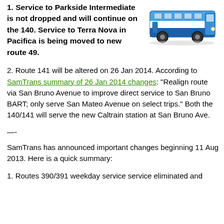1. Service to Parkside Intermediate is not dropped and will continue on the 140. Service to Terra Nova in Pacifica is being moved to new route 49.
[Figure (illustration): Illustration of a blue and white bus viewed from the front-right angle]
2. Route 141 will be altered on 26 Jan 2014. According to SamTrans summary of 26 Jan 2014 changes: "Realign route via San Bruno Avenue to improve direct service to San Bruno BART; only serve San Mateo Avenue on select trips." Both the 140/141 will serve the new Caltrain station at San Bruno Ave.
—-
SamTrans has announced important changes beginning 11 Aug 2013. Here is a quick summary:
1. Routes 390/391 weekday service service eliminated and